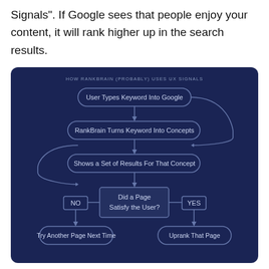Signals". If Google sees that people enjoy your content, it will rank higher up in the search results.
[Figure (flowchart): Flowchart titled 'HOW RANKBRAIN (PROBABLY) USES UX SIGNALS' showing: User Types Keyword Into Google → RankBrain Turns Keyword Into Concepts → Shows a Set of Results For That Concept → Did a Page Satisfy the User? (diamond) → YES: Uprank That Page, NO: Try Another Page Next Time. A feedback loop arrow connects back from the top node.]